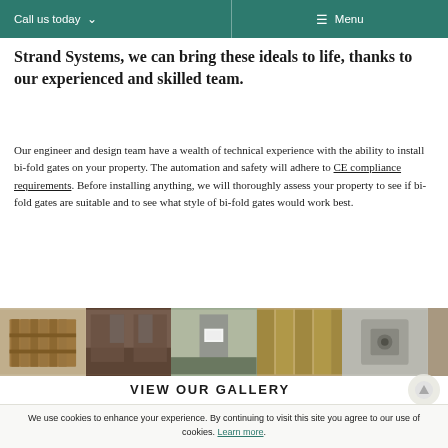Call us today ∨   ☰ Menu
Strand Systems, we can bring these ideals to life, thanks to our experienced and skilled team.
Our engineer and design team have a wealth of technical experience with the ability to install bi-fold gates on your property. The automation and safety will adhere to CE compliance requirements. Before installing anything, we will thoroughly assess your property to see if bi-fold gates are suitable and to see what style of bi-fold gates would work best.
[Figure (photo): Gallery strip showing multiple photos of bi-fold gates and property entrances]
VIEW OUR GALLERY
We use cookies to enhance your experience. By continuing to visit this site you agree to our use of cookies. Learn more.